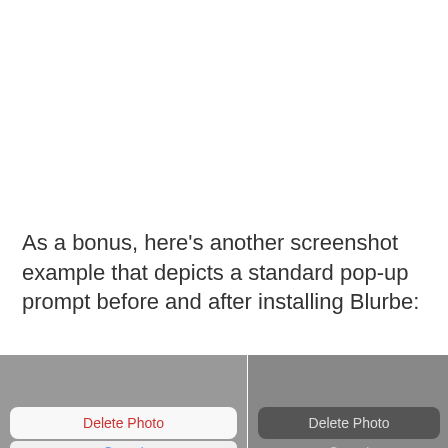As a bonus, here’s another screenshot example that depicts a standard pop-up prompt before and after installing Blurbe:
[Figure (screenshot): Two side-by-side mobile screenshots showing a pop-up dialog before and after installing Blurbe. Left panel (before): gray background with 'Delete Photo' button in red text on white rounded rectangle, and 'Cancel' button below. Right panel (after): gray background with 'Delete Photo' button in light text on dark rounded rectangle, and 'Cancel' button below.]